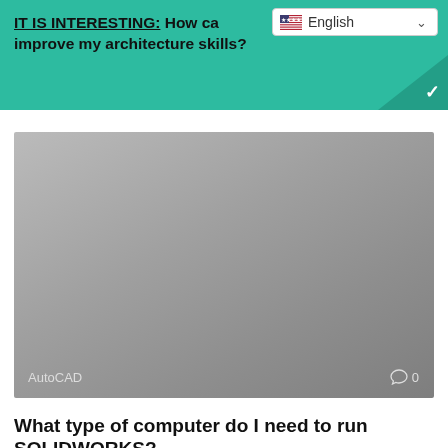IT IS INTERESTING: How can I improve my architecture skills?
[Figure (screenshot): Language selector widget showing US flag and English label with dropdown chevron]
[Figure (photo): Grey toned article thumbnail image with AutoCAD label at bottom left and comment count 0 at bottom right]
What type of computer do I need to run SOLIDWORKS?
Can my computer run SOLIDWORKS 2021? SOLIDWORKS 2021 is compatible with Microsoft Office 2016
[Figure (photo): Partial grey article thumbnail image at bottom of page]